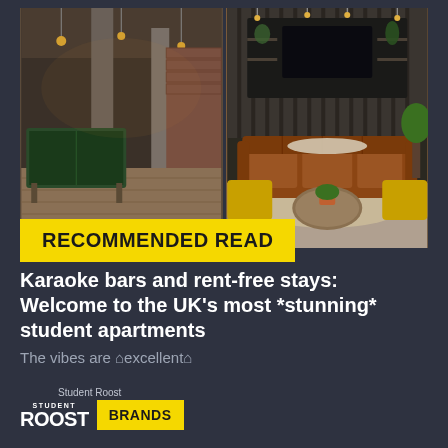[Figure (photo): Two side-by-side interior photos of stylish student apartments. Left photo shows a games room with a pool table, exposed brick, concrete columns, pendant lighting and wood flooring. Right photo shows a lounge area with a brown leather Chesterfield sofa, yellow velvet armchairs, round coffee table, shelving with plants and a TV on the wall.]
RECOMMENDED READ
Karaoke bars and rent-free stays: Welcome to the UK’s most *stunning* student apartments
The vibes are ⟂excellent⟃
Student Roost
[Figure (logo): Student Roost logo: small text STUDENT above large bold ROOST, followed by a yellow badge with BRANDS in bold black text]